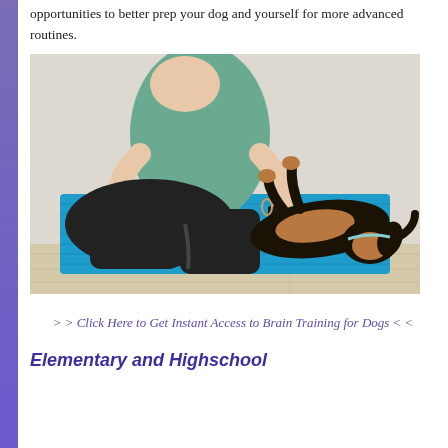opportunities to better prep your dog and yourself for more advanced routines.
[Figure (photo): A person in a teal top and black leggings sitting cross-legged on a blue yoga mat, pointing at a small black and tan dog lying on its back on the mat, on a wooden floor.]
> > Click Here to Get Instant Access to Brain Training for Dogs < <
Elementary and Highschool